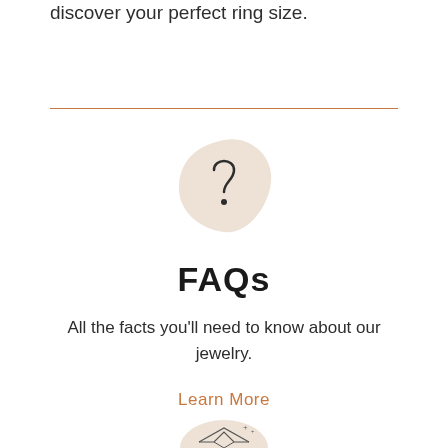discover your perfect ring size.
[Figure (illustration): A decorative blob/teardrop shape in light beige with a question mark icon overlaid on top]
FAQs
All the facts you'll need to know about our jewelry.
Learn More
[Figure (illustration): Partial view of a decorative beige blob shape with a gem/ring illustration and small sparkle marks]